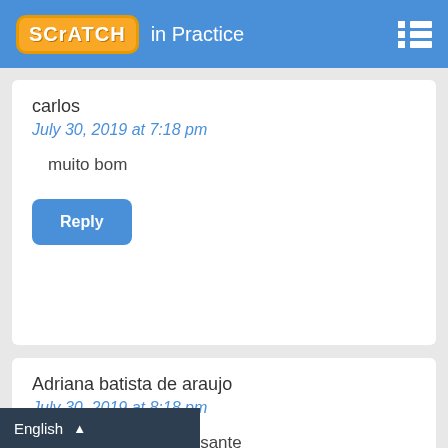SCRATCH in Practice
carlos
July 30, 2019 at 7:18 pm

muito bom
Reply
Adriana batista de araujo
July 30, 2019 at 8:18 pm

gostei muito, interessante
Reply
English